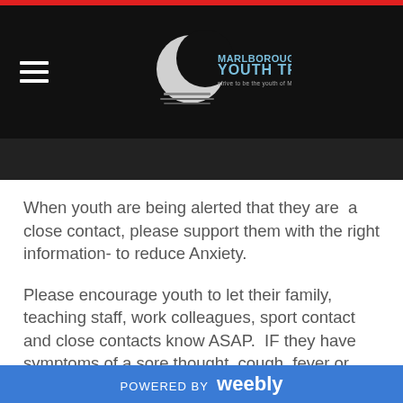[Figure (logo): Marlborough Youth Trust logo — crescent moon with text 'MARLBOROUGH YOUTH TRUST' on dark background header]
When youth are being alerted that they are  a close contact, please support them with the right information- to reduce Anxiety.
Please encourage youth to let their family, teaching staff, work colleagues, sport contact and close contacts know ASAP.  IF they have symptoms of a sore thought, cough, fever or unwell, be in contact with your family Dr. Go get a test at Horton park if you have symptoms. If you are a close contact you need to isolate for up to 7 days, if you have Covid it...
POWERED BY weebly